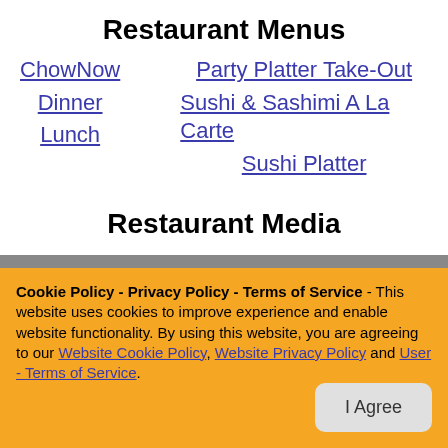Restaurant Menus
ChowNow
Dinner
Lunch
Party Platter Take-Out
Sushi & Sashimi A La Carte
Sushi Platter
Restaurant Media
Cookie Policy - Privacy Policy - Terms of Service - This website uses cookies to improve experience and enable website functionality. By using this website, you are agreeing to our Website Cookie Policy, Website Privacy Policy and User - Terms of Service.